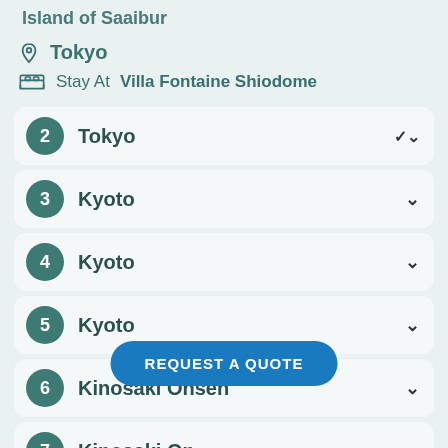Island of Saaibur
Tokyo
Stay At  Villa Fontaine Shiodome
2  Tokyo
3  Kyoto
4  Kyoto
5  Kyoto
6  Kinosaki Onsen
7  Kinosaki On...
8  Tokyo
REQUEST A QUOTE